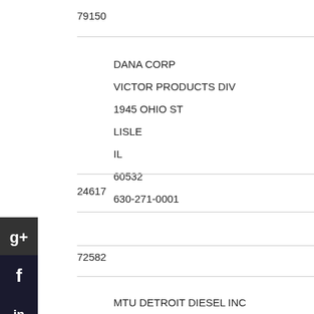79150
DANA CORP
VICTOR PRODUCTS DIV
1945 OHIO ST
LISLE
IL
60532
630-271-0001
24617
72582
MTU DETROIT DIESEL INC
DBA FOREIGN PARENT IS MTU
13400 W OUTER DR